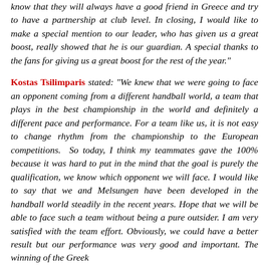know that they will always have a good friend in Greece and try to have a partnership at club level. In closing, I would like to make a special mention to our leader, who has given us a great boost, really showed that he is our guardian. A special thanks to the fans for giving us a great boost for the rest of the year."
Kostas Tsilimparis stated: "We knew that we were going to face an opponent coming from a different handball world, a team that plays in the best championship in the world and definitely a different pace and performance. For a team like us, it is not easy to change rhythm from the championship to the European competitions.  So today, I think my teammates gave the 100% because it was hard to put in the mind that the goal is purely the qualification, we know which opponent we will face. I would like to say that we and Melsungen have been developed in the handball world steadily in the recent years. Hope that we will be able to face such a team without being a pure outsider. I am very satisfied with the team effort. Obviously, we could have a better result but our performance was very good and important. The winning of the Greek